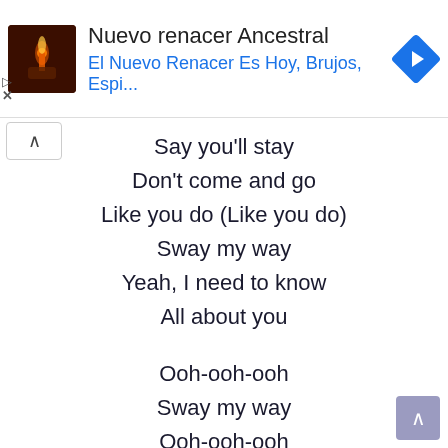[Figure (screenshot): Advertisement banner for 'Nuevo renacer Ancestral' with a dark candle image thumbnail, title text in dark, subtitle in blue 'El Nuevo Renacer Es Hoy, Brujos, Espi...', and a blue navigation arrow icon on the right]
Say you'll stay
Don't come and go
Like you do (Like you do)
Sway my way
Yeah, I need to know
All about you

Ooh-ooh-ooh
Sway my way
Ooh-ooh-ooh
Sway my way
Ooh-ooh-ooh